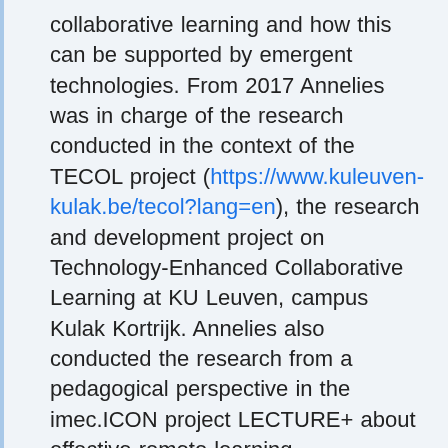collaborative learning and how this can be supported by emergent technologies. From 2017 Annelies was in charge of the research conducted in the context of the TECOL project (https://www.kuleuven-kulak.be/tecol?lang=en), the research and development project on Technology-Enhanced Collaborative Learning at KU Leuven, campus Kulak Kortrijk. Annelies also conducted the research from a pedagogical perspective in the imec.ICON project LECTURE+ about effective remote learning (https://www.imec-int.com/nl/imec-icon/research-portfolio/lecture).